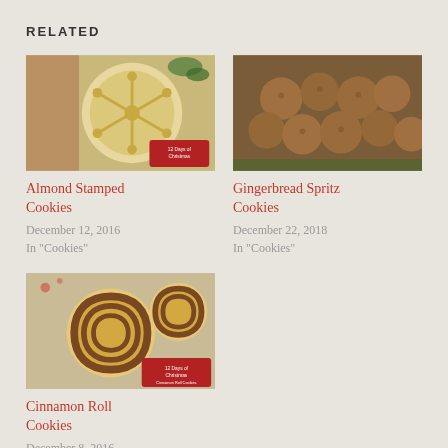RELATED
[Figure (photo): Almond stamped cookie with snowflake pattern, Christmas themed]
Almond Stamped Cookies
December 12, 2016
In "Cookies"
[Figure (photo): Gingerbread spritz cookies piled together]
Gingerbread Spritz Cookies
December 22, 2018
In "Cookies"
[Figure (photo): Cinnamon roll cookies with swirl pattern]
Cinnamon Roll Cookies
December 8, 2016
In "Cookies"